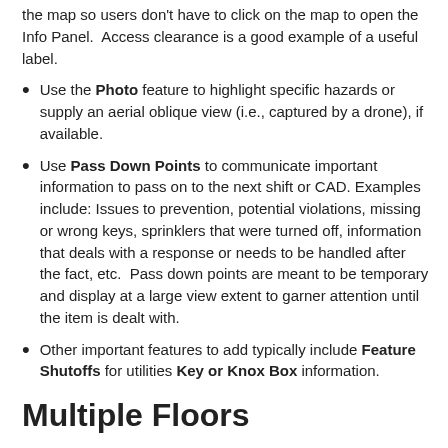the map so users don't have to click on the map to open the Info Panel.  Access clearance is a good example of a useful label.
Use the Photo feature to highlight specific hazards or supply an aerial oblique view (i.e., captured by a drone), if available.
Use Pass Down Points to communicate important information to pass on to the next shift or CAD. Examples include: Issues to prevention, potential violations, missing or wrong keys, sprinklers that were turned off, information that deals with a response or needs to be handled after the fact, etc.  Pass down points are meant to be temporary and display at a large view extent to garner attention until the item is dealt with.
Other important features to add typically include Feature Shutoffs for utilities Key or Knox Box information.
Multiple Floors